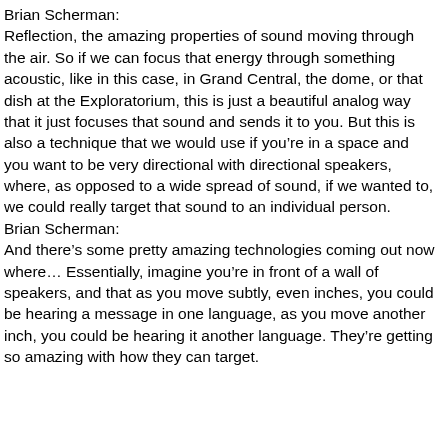Brian Scherman:
Reflection, the amazing properties of sound moving through the air. So if we can focus that energy through something acoustic, like in this case, in Grand Central, the dome, or that dish at the Exploratorium, this is just a beautiful analog way that it just focuses that sound and sends it to you. But this is also a technique that we would use if you’re in a space and you want to be very directional with directional speakers, where, as opposed to a wide spread of sound, if we wanted to, we could really target that sound to an individual person.
Brian Scherman:
And there’s some pretty amazing technologies coming out now where… Essentially, imagine you’re in front of a wall of speakers, and that as you move subtly, even inches, you could be hearing a message in one language, as you move another inch, you could be hearing it another language. They’re getting so amazing with how they can target.